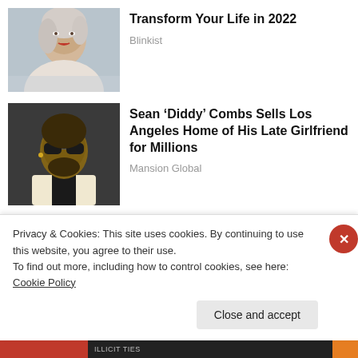[Figure (photo): Photo of a young woman with light hair and red lipstick, wearing white, looking to the side]
Transform Your Life in 2022
Blinkist
[Figure (photo): Photo of Sean 'Diddy' Combs wearing sunglasses and a white suit with black bow tie]
Sean ‘Diddy’ Combs Sells Los Angeles Home of His Late Girlfriend for Millions
Mansion Global
Share this:
Privacy & Cookies: This site uses cookies. By continuing to use this website, you agree to their use.
To find out more, including how to control cookies, see here: Cookie Policy